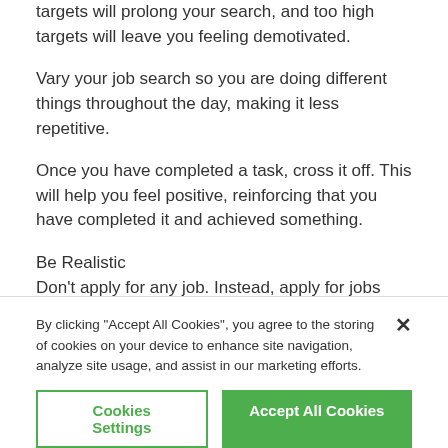targets will prolong your search, and too high targets will leave you feeling demotivated.
Vary your job search so you are doing different things throughout the day, making it less repetitive.
Once you have completed a task, cross it off. This will help you feel positive, reinforcing that you have completed it and achieved something.
Be Realistic
Don't apply for any job. Instead, apply for jobs you believe you would be able to do, and are at the right level of seniority. For example, if you are a Clinical Research Associate with 2
By clicking “Accept All Cookies”, you agree to the storing of cookies on your device to enhance site navigation, analyze site usage, and assist in our marketing efforts.
Cookies Settings
Accept All Cookies